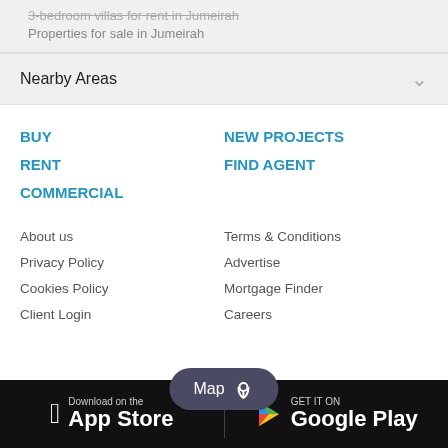Properties for sale in Jumeirah
Nearby Areas
BUY
NEW PROJECTS
RENT
FIND AGENT
COMMERCIAL
About us
Terms & Conditions
Privacy Policy
Advertise
Cookies Policy
Mortgage Finder
Client Login
Careers
[Figure (screenshot): Map button overlay and app download bar showing Apple App Store and Google Play Store buttons on dark background]